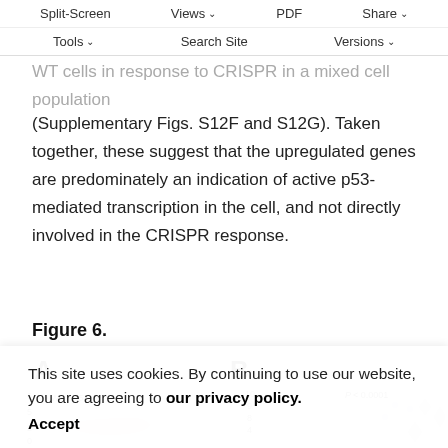Supplementary Table also, knockout cells, the two top hits; Eda2r and Ptchd4; behaved similarly to WT cells in response to CRISPR in a mixed cell population (Supplementary Figs. S12F and S12G). Taken together, these suggest that the upregulated genes are predominately an indication of active p53-mediated transcription in the cell, and not directly involved in the CRISPR response.
Split-Screen | Views | PDF | Share | Tools | Search Site | Versions
Figure 6.
[Figure (other): Panel A and B partial figure labels visible, with partial axis labels and chart content cut off at bottom of page. Panel A shows partial y-axis and WT TP53 legend. Panel B shows partial chart with P < 0.0001 annotation.]
This site uses cookies. By continuing to use our website, you are agreeing to our privacy policy. Accept